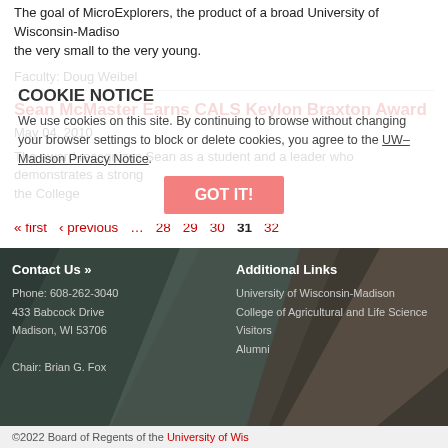The goal of MicroExplorers, the product of a broad University of Wisconsin-Madison the very small to the very young.
Faculty: Doug Weibel
Sean McMaster Earns CALS Keylon Braxton Award
May 04, 2010
The award recognizes Sean as a student and a leader who demonstrates a strong the College
« first
‹ previous
…
28
29
30
31
32
Contact Us »
Phone: 608-262-3040
433 Babcock Drive
Madison, WI 53706
Chair: Brian G. Fox
Additional Links
University of Wisconsin-Madison
College of Agricultural and Life Science
Visitors
Alumni
COOKIE NOTICE
We use cookies on this site. By continuing to browse without changing your browser settings to block or delete cookies, you agree to the UW–Madison Privacy Notice.
GOT IT!
©2022 Board of Regents of the University of Wis…